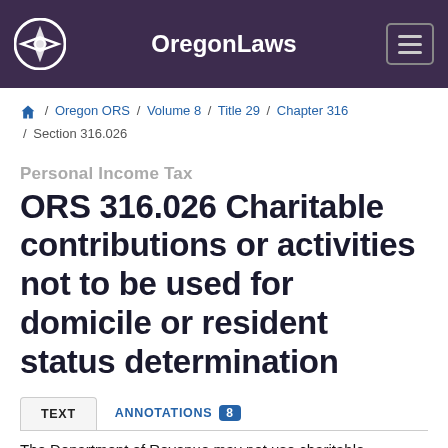OregonLaws
Home / Oregon ORS / Volume 8 / Title 29 / Chapter 316 / Section 316.026
Personal Income Tax
ORS 316.026 Charitable contributions or activities not to be used for domicile or resident status determination
TEXT  ANNOTATIONS 8
The Department of Revenue may not use charitable